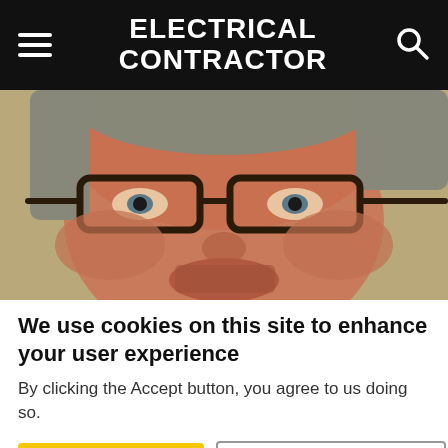ELECTRICAL CONTRACTOR
[Figure (photo): Close-up photo of a man wearing dark-framed glasses, partially visible from forehead to chin, with short grey/brown hair and stubble.]
We use cookies on this site to enhance your user experience
By clicking the Accept button, you agree to us doing so.